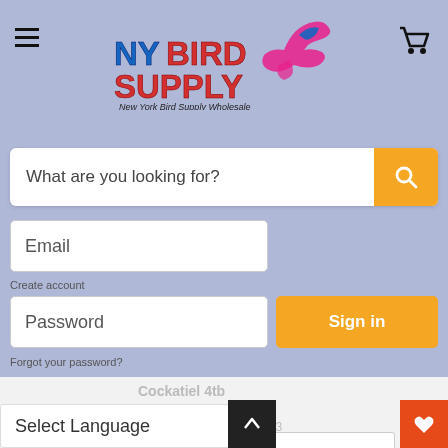[Figure (screenshot): NY Bird Supply website header with hamburger menu, NY Bird Supply logo with bird graphic, and shopping cart icon on a periwinkle/lavender blue background]
[Figure (screenshot): Search bar with placeholder text 'What are you looking for?' and orange search button with magnifying glass icon]
Email
Create account
Password
Sign in
Forgot your password?
Cockatiel 4tb
Lafeber
UPC: 041054726423
In Stock
Quantity
Select Language